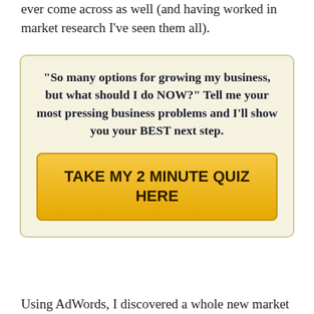ever come across as well (and having worked in market research I've seen them all).
[Figure (infographic): Promotional call-to-action box with quote and button. Quote: "So many options for growing my business, but what should I do NOW?" Tell me your most pressing business problems and I'll show you your BEST next step. Button: TAKE MY 2 MINUTE QUIZ HERE]
Using AdWords, I discovered a whole new market